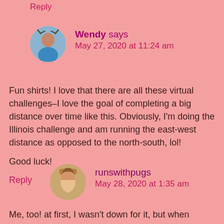Reply
Wendy says
May 27, 2020 at 11:24 am
Fun shirts! I love that there are all these virtual challenges–I love the goal of completing a big distance over time like this. Obviously, I'm doing the Illinois challenge and am running the east-west distance as opposed to the north-south, lol!

Good luck!
Reply
runswithpugs says
May 28, 2020 at 1:35 am
Me, too! at first, I wasn't down for it, but when